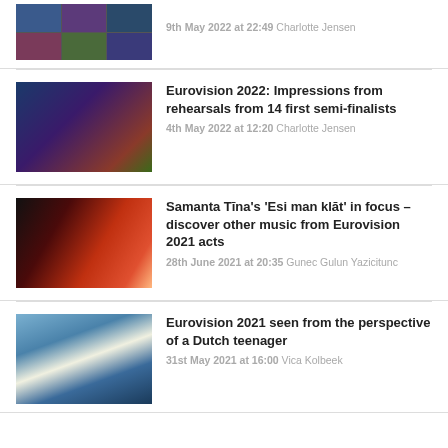[Figure (photo): Mosaic of Eurovision performance thumbnails]
9th May 2022 at 22:49 Charlotte Jensen
[Figure (photo): Eurovision performers on stage with colorful lights]
Eurovision 2022: Impressions from rehearsals from 14 first semi-finalists
4th May 2022 at 12:20 Charlotte Jensen
[Figure (photo): Samanta Tina with red hair dancing]
Samanta Tīna's 'Esi man klāt' in focus – discover other music from Eurovision 2021 acts
28th June 2021 at 20:35 Gunec Gulun Yazicitunc
[Figure (photo): Eurovision 2021 outdoor venue with Dutch teenager]
Eurovision 2021 seen from the perspective of a Dutch teenager
31st May 2021 at 16:00 Vica Kolbeek